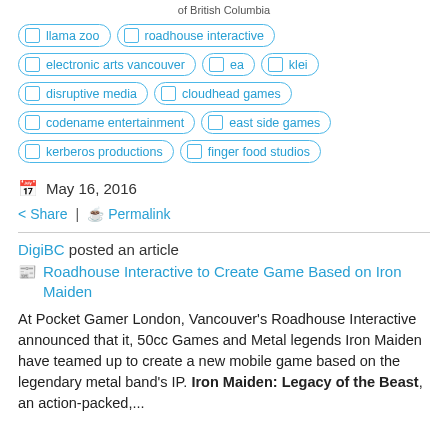of British Columbia
llama zoo
roadhouse interactive
electronic arts vancouver
ea
klei
disruptive media
cloudhead games
codename entertainment
east side games
kerberos productions
finger food studios
May 16, 2016
Share | Permalink
DigiBC posted an article
Roadhouse Interactive to Create Game Based on Iron Maiden
At Pocket Gamer London, Vancouver’s Roadhouse Interactive announced that it, 50cc Games and Metal legends Iron Maiden have teamed up to create a new mobile game based on the legendary metal band’s IP. Iron Maiden: Legacy of the Beast, an action-packed,...